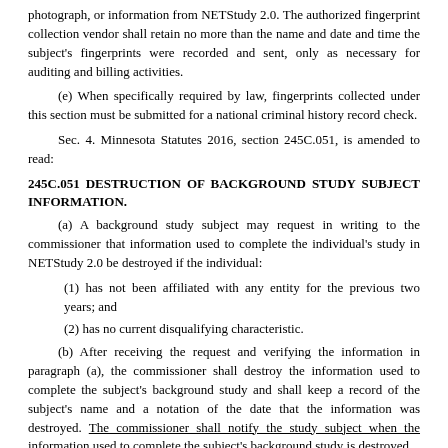photograph, or information from NETStudy 2.0. The authorized fingerprint collection vendor shall retain no more than the name and date and time the subject's fingerprints were recorded and sent, only as necessary for auditing and billing activities.
(e) When specifically required by law, fingerprints collected under this section must be submitted for a national criminal history record check.
Sec. 4. Minnesota Statutes 2016, section 245C.051, is amended to read:
245C.051 DESTRUCTION OF BACKGROUND STUDY SUBJECT INFORMATION.
(a) A background study subject may request in writing to the commissioner that information used to complete the individual's study in NETStudy 2.0 be destroyed if the individual:
(1) has not been affiliated with any entity for the previous two years; and
(2) has no current disqualifying characteristic.
(b) After receiving the request and verifying the information in paragraph (a), the commissioner shall destroy the information used to complete the subject's background study and shall keep a record of the subject's name and a notation of the date that the information was destroyed. The commissioner shall notify the study subject when the information used to complete the subject's background study is destroyed.
(c) When a previously studied individual has not been on the master roster for two years, the commissioner shall destroy the photographic image of the individual obtained under section 245C.05, subdivision 5, paragraph (d).
(d) Any data collected on an individual under this chapter that is maintained by the commissioner that has not been destroyed according to paragraph (b) or